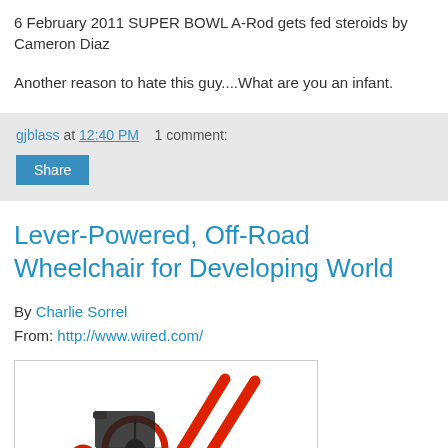6 February 2011 SUPER BOWL A-Rod gets fed steroids by Cameron Diaz
Another reason to hate this guy....What are you an infant.
gjblass at 12:40 PM    1 comment:
Share
Lever-Powered, Off-Road Wheelchair for Developing World
By Charlie Sorrel
From: http://www.wired.com/
[Figure (photo): Partial image of a red lever-powered off-road wheelchair, showing handlebars and wheel]